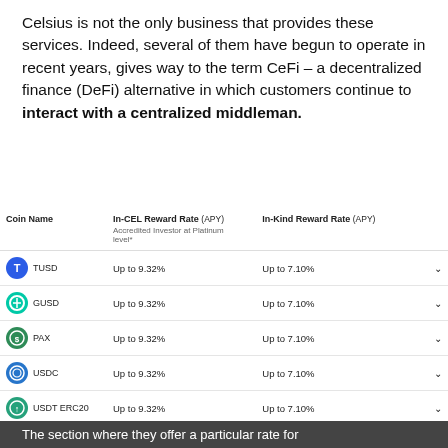Celsius is not the only business that provides these services. Indeed, several of them have begun to operate in recent years, gives way to the term CeFi – a decentralized finance (DeFi) alternative in which customers continue to interact with a centralized middleman.
| Coin Name | In-CEL Reward Rate (APY)
Accredited Investor at Platinum level* | In-Kind Reward Rate (APY) |  |
| --- | --- | --- | --- |
| TUSD | Up to 9.32% | Up to 7.10% |  |
| GUSD | Up to 9.32% | Up to 7.10% |  |
| PAX | Up to 9.32% | Up to 7.10% |  |
| USDC | Up to 9.32% | Up to 7.10% |  |
| USDT ERC20 | Up to 9.32% | Up to 7.10% |  |
| BUSD | Up to 9.32% | Up to 7.10% |  |
The section where they offer a particular rate for